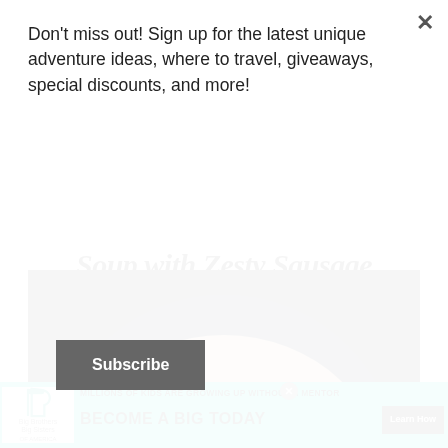Don't miss out! Sign up for the latest unique adventure ideas, where to travel, giveaways, special discounts, and more!
Subscribe
Soup with Zesty Sausage
[Figure (photo): Close-up of creamy soup in a dark pot being stirred with a wooden spoon labeled 'Bob Evans Farms']
[Figure (infographic): Advertisement banner: Big Brothers Big Sisters - Millions of kids are growing up without a mentor. Become a Big Today. Learn How.]